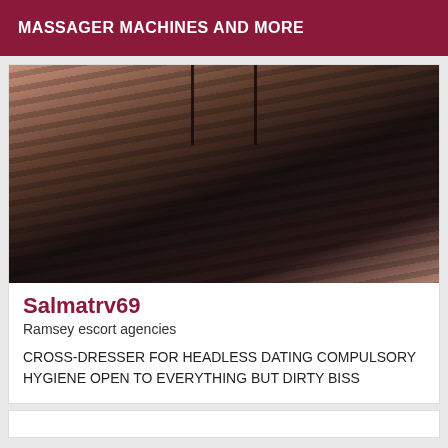MASSAGER MACHINES AND MORE
[Figure (photo): Close-up photo of a person wearing a sheer black garment, showing the back/torso area.]
Salmatrv69
Ramsey escort agencies
CROSS-DRESSER FOR HEADLESS DATING COMPULSORY HYGIENE OPEN TO EVERYTHING BUT DIRTY BISS